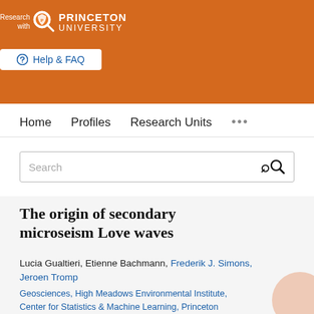[Figure (logo): Princeton University 'Research with Princeton University' logo on orange header background with Help & FAQ button]
Home   Profiles   Research Units   ...
Search
The origin of secondary microseism Love waves
Lucia Gualtieri, Etienne Bachmann, Frederik J. Simons, Jeroen Tromp
Geosciences, High Meadows Environmental Institute, Center for Statistics & Machine Learning, Princeton Institute for Computational Science and Engineering